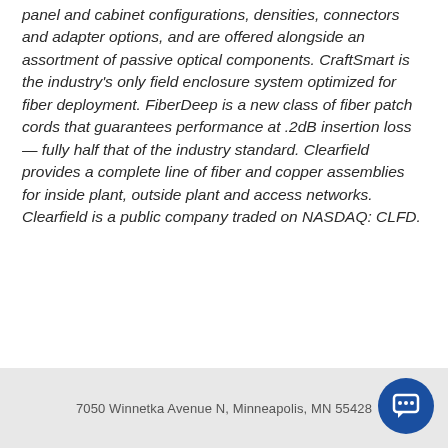panel and cabinet configurations, densities, connectors and adapter options, and are offered alongside an assortment of passive optical components. CraftSmart is the industry's only field enclosure system optimized for fiber deployment. FiberDeep is a new class of fiber patch cords that guarantees performance at .2dB insertion loss — fully half that of the industry standard. Clearfield provides a complete line of fiber and copper assemblies for inside plant, outside plant and access networks. Clearfield is a public company traded on NASDAQ: CLFD.
7050 Winnetka Avenue N, Minneapolis, MN 55428